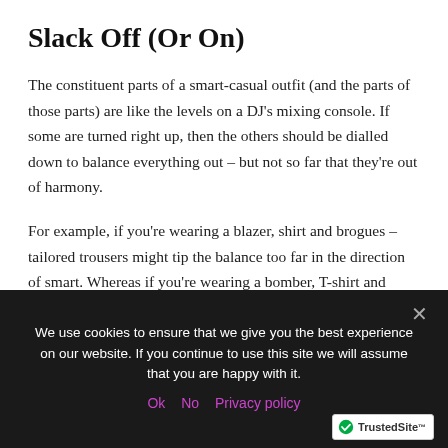Slack Off (Or On)
The constituent parts of a smart-casual outfit (and the parts of those parts) are like the levels on a DJ's mixing console. If some are turned right up, then the others should be dialled down to balance everything out – but not so far that they're out of harmony.
For example, if you're wearing a blazer, shirt and brogues – tailored trousers might tip the balance too far in the direction of smart. Whereas if you're wearing a bomber, T-shirt and trainers – tailored trousers can prevent you
We use cookies to ensure that we give you the best experience on our website. If you continue to use this site we will assume that you are happy with it.
Ok   No   Privacy policy